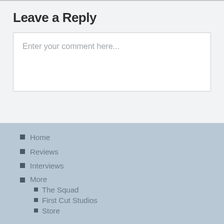Leave a Reply
Enter your comment here...
Home
Reviews
Interviews
More
The Squad
First Cut Studios
Store